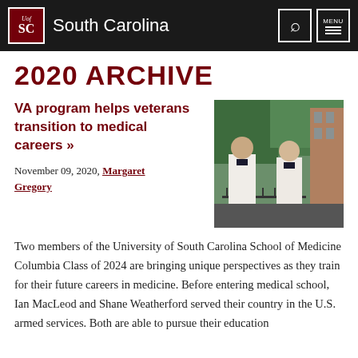University of South Carolina
2020 ARCHIVE
VA program helps veterans transition to medical careers »
[Figure (photo): Two men in white medical coats standing outdoors near a building with trees in the background]
November 09, 2020, Margaret Gregory
Two members of the University of South Carolina School of Medicine Columbia Class of 2024 are bringing unique perspectives as they train for their future careers in medicine. Before entering medical school, Ian MacLeod and Shane Weatherford served their country in the U.S. armed services. Both are able to pursue their education